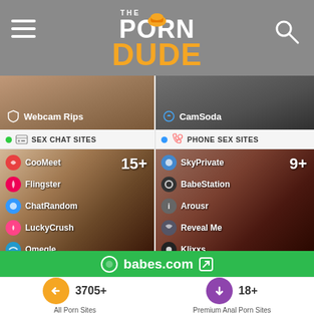The Porn Dude
[Figure (screenshot): Partial view of Webcam Rips card (left) and CamSoda card (right), cropped from top]
SEX CHAT SITES
PHONE SEX SITES
[Figure (screenshot): Sex Chat Sites card showing 15+ sites: CooMeet, Flingster, ChatRandom, LuckyCrush, Omegle on dark background with woman image]
[Figure (screenshot): Phone Sex Sites card showing 9+ sites: SkyPrivate, BabeStation, Arousr, Reveal Me, Klixxs on dark background with woman on phone]
babes.com
3705+
All Porn Sites
18+
Premium Anal Porn Sites